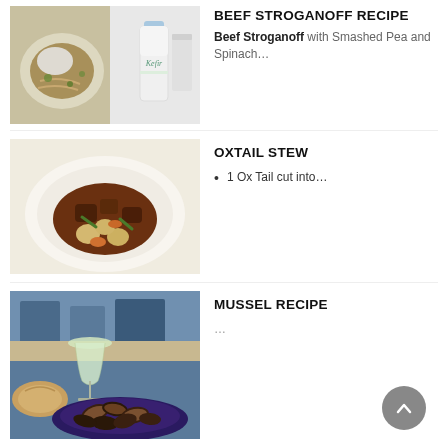[Figure (photo): Beef stroganoff dish in bowl with noodles and a Kefir bottle]
BEEF STROGANOFF RECIPE
Beef Stroganoff with Smashed Pea and Spinach…
[Figure (photo): Oxtail stew on a white plate with vegetables]
OXTAIL STEW
1 Ox Tail cut into…
[Figure (photo): Mussels in a blue bowl with bread and a glass of white wine]
MUSSEL RECIPE